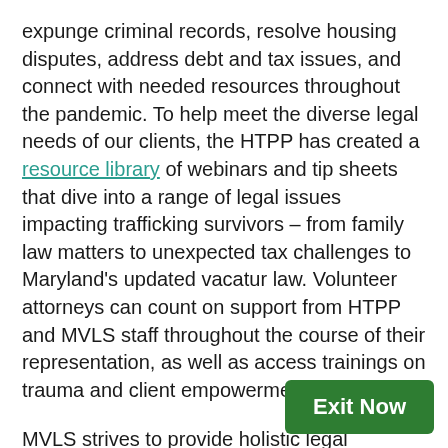expunge criminal records, resolve housing disputes, address debt and tax issues, and connect with needed resources throughout the pandemic. To help meet the diverse legal needs of our clients, the HTPP has created a resource library of webinars and tip sheets that dive into a range of legal issues impacting trafficking survivors – from family law matters to unexpected tax challenges to Maryland's updated vacatur law. Volunteer attorneys can count on support from HTPP and MVLS staff throughout the course of their representation, as well as access trainings on trauma and client empowerment.
MVLS strives to provide holistic legal services to all HTPP clients and ensure they can connect with free services to meet all their civil legal needs. This is only possible thanks to our many MVLS volunteers around the state, and we encourage you to join us as we work to ensure access to justice for survivors. To learn more about the Human Trafficking Protection Project and